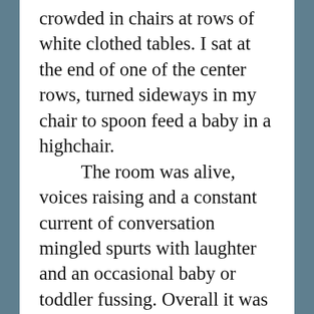crowded in chairs at rows of white clothed tables. I sat at the end of one of the center rows, turned sideways in my chair to spoon feed a baby in a highchair. The room was alive, voices raising and a constant current of conversation mingled spurts with laughter and an occasional baby or toddler fussing. Overall it was just the happy sound of people eating together. I saw her headed toward me and I was glad to see her. She had a determined gleam in her eye as she carefully and slowly navigated around people and conversations, and chairs and dishes and spills. She kept coming and she got slowly closer until she was standing